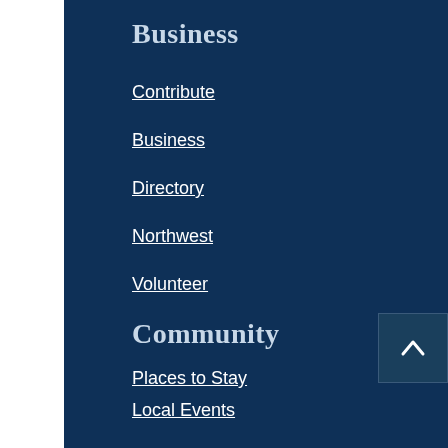Business
Contribute
Business
Directory
Northwest
Volunteer
Community
Places to Stay
Local Events
Things to Do
Shopping
Dining